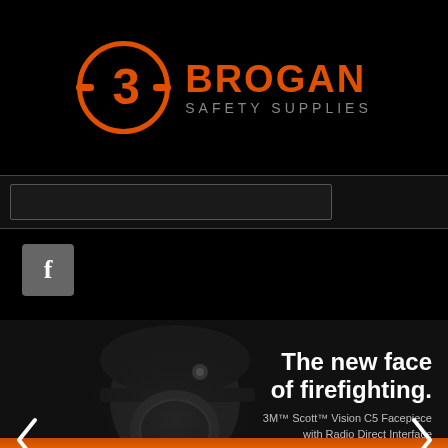[Figure (logo): Brogan Safety Supplies logo: orange circular emblem with stylized '3' letter and orange text 'BROGAN' with grey 'SAFETY SUPPLIES' below]
[Figure (screenshot): Dark search bar / navigation area]
[Figure (logo): Facebook icon button - grey square with white 'f' letter]
[Figure (photo): 3M Scott Fire & Safety advertisement: firefighter wearing dark helmet and Scott Vision C5 Facepiece, dark background. Text reads: '3M | SCOTT Fire & Safety', 'The new face of firefighting.', '3M™ Scott™ Vision C5 Facepiece with Radio Direct Interface', 'Request a demo' button. Navigation arrows on left and right.]